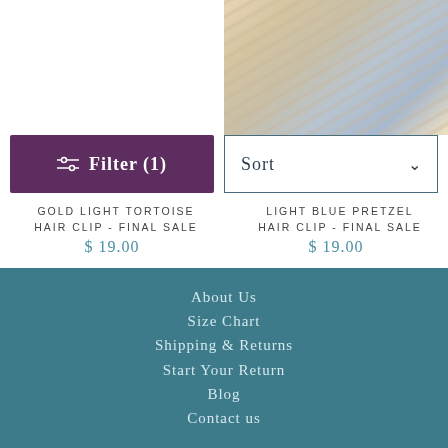[Figure (photo): Blonde hair product image in top right corner]
Filter (1)
Sort
GOLD LIGHT TORTOISE HAIR CLIP - FINAL SALE
$ 19.00
LIGHT BLUE PRETZEL HAIR CLIP - FINAL SALE
$ 19.00
About Us
Size Chart
Shipping & Returns
Start Your Return
Blog
Contact us